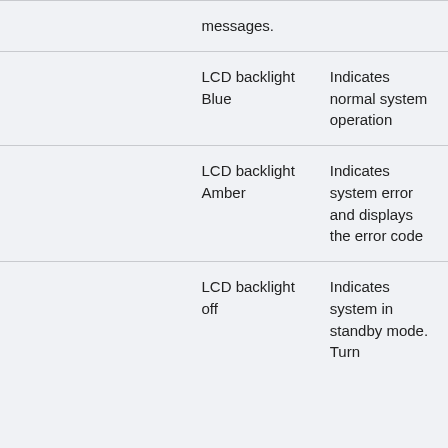|  | messages. |  |
|  | LCD backlight Blue | Indicates normal system operation |
|  | LCD backlight Amber | Indicates system error and displays the error code |
|  | LCD backlight off | Indicates system in standby mode. Turn |